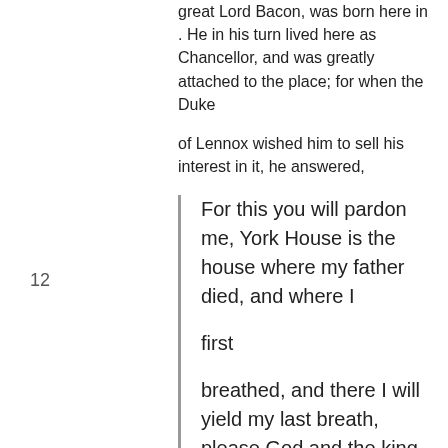great Lord Bacon, was born here in . He in his turn lived here as Chancellor, and was greatly attached to the place; for when the Duke
of Lennox wished him to sell his interest in it, he answered,
For this you will pardon me, York House is the house where my father died, and where I

first

breadthed, and there I will yield my last breath, please God and the king.
12